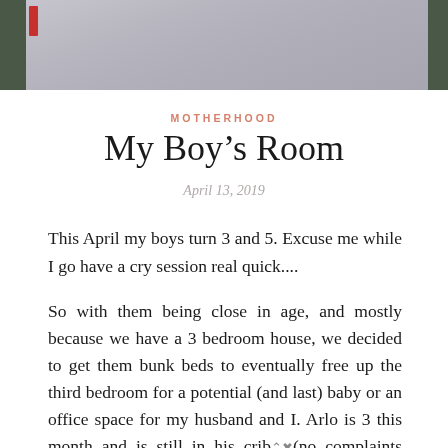[Figure (photo): Cropped photo showing a textured gray/lavender fabric or wall surface with dark green door frames on left and right edges, and a small red mark near the left frame.]
MOTHERHOOD
My Boy’s Room
April 13, 2019
This April my boys turn 3 and 5. Excuse me while I go have a cry session real quick....
So with them being close in age, and mostly because we have a 3 bedroom house, we decided to get them bunk beds to eventually free up the third bedroom for a potential (and last) baby or an office space for my husband and I. Arlo is 3 this month and is still in his crib (no complaints about that however since he has never once tried to climb out) so we want to have a bed option ready for him for as soon as he is willing. Plus Luca is ALL about